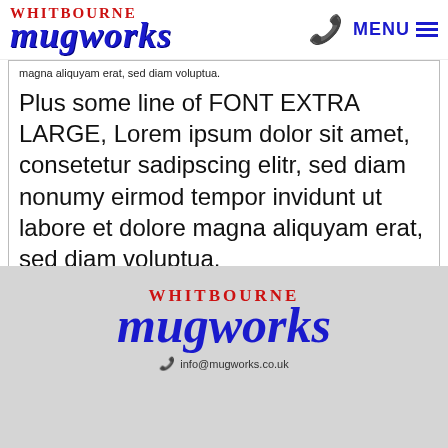WHITBOURNE MUGWORKS | MENU
magna aliquyam erat, sed diam voluptua.
Plus some line of FONT EXTRA LARGE, Lorem ipsum dolor sit amet, consetetur sadipscing elitr, sed diam nonumy eirmod tempor invidunt ut labore et dolore magna aliquyam erat, sed diam voluptua.
And some more text below...
And some more text below...
[Figure (logo): Whitbourne Mugworks footer logo in red and blue on grey background]
info@mugworks.co.uk